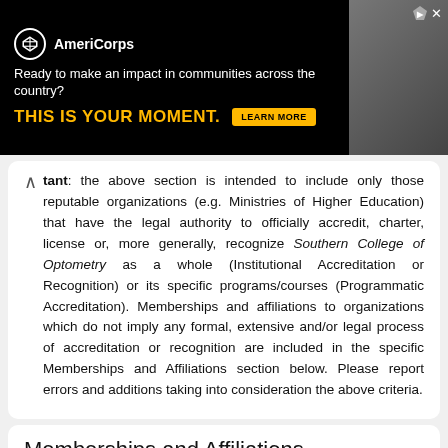[Figure (screenshot): AmeriCorps advertisement banner with black background, yellow 'THIS IS YOUR MOMENT.' headline, white tagline 'Ready to make an impact in communities across the country?', yellow 'LEARN MORE' button, and a photo of people on the right side.]
Important: the above section is intended to include only those reputable organizations (e.g. Ministries of Higher Education) that have the legal authority to officially accredit, charter, license or, more generally, recognize Southern College of Optometry as a whole (Institutional Accreditation or Recognition) or its specific programs/courses (Programmatic Accreditation). Memberships and affiliations to organizations which do not imply any formal, extensive and/or legal process of accreditation or recognition are included in the specific Memberships and Affiliations section below. Please report errors and additions taking into consideration the above criteria.
Memberships and Affiliations
Not available; please submit a list of official affiliations and memberships to relevant associations and